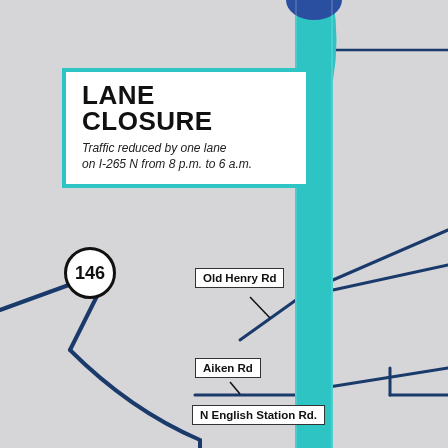[Figure (map): Road map showing I-265 N lane closure area with roads including Old Henry Rd, Aiken Rd, N English Station Rd, and route 146. The lane closure is highlighted with a thick cyan/teal band along the interstate corridor.]
LANE CLOSURE
Traffic reduced by one lane on I-265 N from 8 p.m. to 6 a.m.